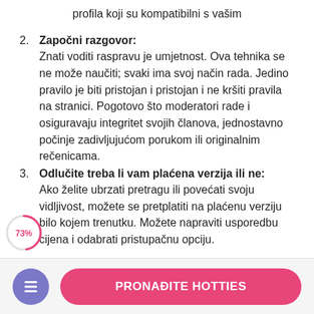profila koji su kompatibilni s vašim
2. Započni razgovor: Znati voditi raspravu je umjetnost. Ova tehnika se ne može naučiti; svaki ima svoj način rada. Jedino pravilo je biti pristojan i pristojan i ne kršiti pravila na stranici. Pogotovo što moderatori rade i osiguravaju integritet svojih članova, jednostavno počinje zadivljujućom porukom ili originalnim rečenicama.
3. Odlučite treba li vam plaćena verzija ili ne: Ako želite ubrzati pretragu ili povećati svoju vidljivost, možete se pretplatiti na plaćenu verziju bilo kojem trenutku. Možete napraviti usporedbu cijena i odabrati pristupačnu opciju.
PRONAĐITE HOTTIES